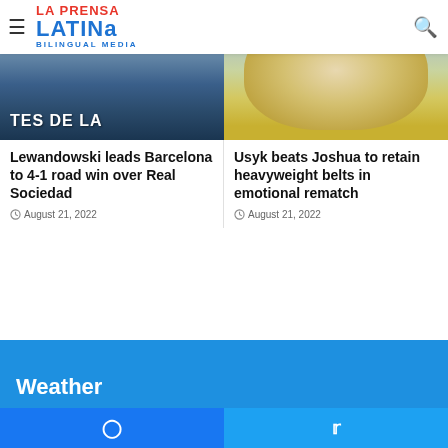La Prensa Latina Bilingual Media
[Figure (photo): Sports photo left column - Barcelona game crowd banner reading TES DE LA]
[Figure (photo): Sports photo right column - Usyk boxing match, figure in yellow]
Lewandowski leads Barcelona to 4-1 road win over Real Sociedad
August 21, 2022
Usyk beats Joshua to retain heavyweight belts in emotional rematch
August 21, 2022
Weather
Facebook Twitter